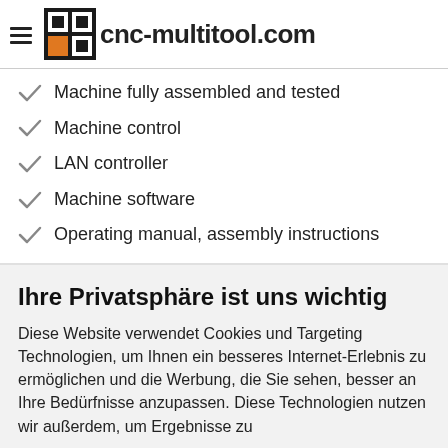cnc-multitool.com
Machine fully assembled and tested
Machine control
LAN controller
Machine software
Operating manual, assembly instructions
Ihre Privatsphäre ist uns wichtig
Diese Website verwendet Cookies und Targeting Technologien, um Ihnen ein besseres Internet-Erlebnis zu ermöglichen und die Werbung, die Sie sehen, besser an Ihre Bedürfnisse anzupassen. Diese Technologien nutzen wir außerdem, um Ergebnisse zu